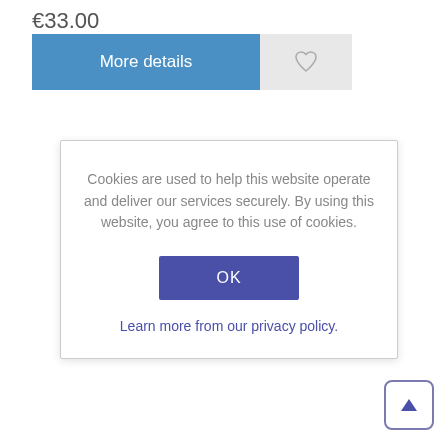€33.00
[Figure (screenshot): Blue 'More details' button and grey heart/wishlist button]
Cookies are used to help this website operate and deliver our services securely. By using this website, you agree to this use of cookies.
[Figure (screenshot): Blue OK button in cookie consent dialog]
Learn more from our privacy policy.
[Figure (screenshot): Triangle up arrow button in bottom right corner]